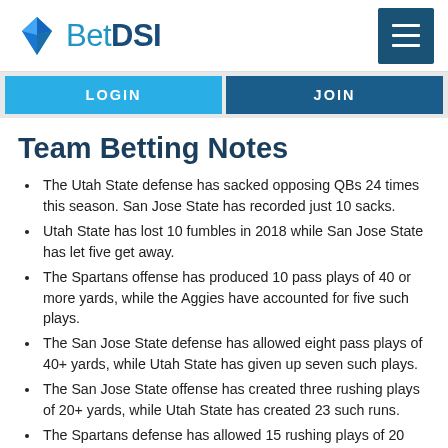BetDSI
Team Betting Notes
The Utah State defense has sacked opposing QBs 24 times this season. San Jose State has recorded just 10 sacks.
Utah State has lost 10 fumbles in 2018 while San Jose State has let five get away.
The Spartans offense has produced 10 pass plays of 40 or more yards, while the Aggies have accounted for five such plays.
The San Jose State defense has allowed eight pass plays of 40+ yards, while Utah State has given up seven such plays.
The San Jose State offense has created three rushing plays of 20+ yards, while Utah State has created 23 such runs.
The Spartans defense has allowed 15 rushing plays of 20...